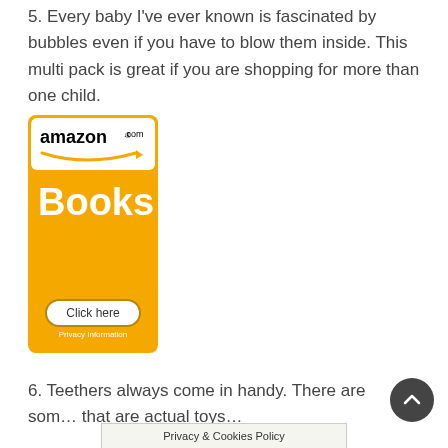5. Every baby I've ever known is fascinated by bubbles even if you have to blow them inside. This multi pack is great if you are shopping for more than one child.
[Figure (logo): Amazon.com Books advertisement banner with orange background, 'amazon.com' logo at top, 'Books' text in white, and a 'Click here' button with 'Privacy Information' text below.]
6. Teethers always come in handy. There are some that are actual toys…
Privacy & Cookies Policy